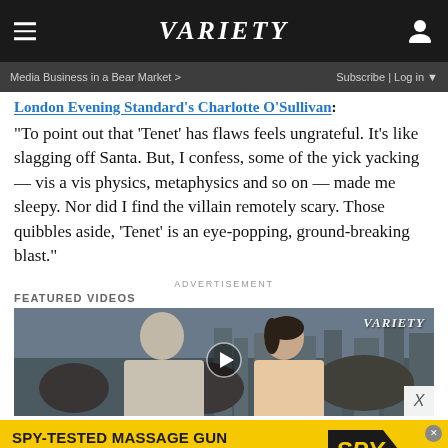VARIETY — navigation header with menu, logo, and user icon
Media Business in a Bear Market >   Subscribe | Log in ▼
London Evening Standard's Charlotte O'Sullivan:
“To point out that ‘Tenet’ has flaws feels ungrateful. It’s like slagging off Santa. But, I confess, some of the yick yacking — vis a vis physics, metaphysics and so on — made me sleepy. Nor did I find the villain remotely scary. Those quibbles aside, ‘Tenet’ is an eye-popping, ground-breaking blast.”
ADVERTISEMENT
FEATURED VIDEOS
[Figure (photo): Two people at what appears to be a film premiere or red carpet event. A bald man in suit faces a smiling woman. Variety logo watermark visible top right. Play button overlay in center.]